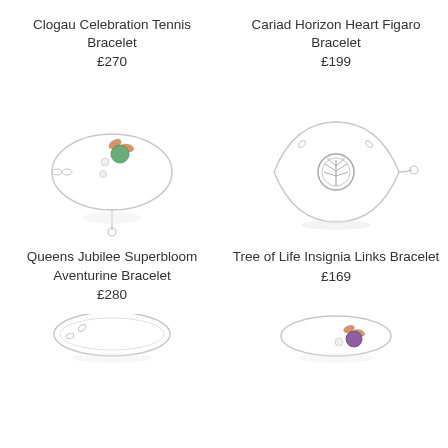Clogau Celebration Tennis Bracelet
£270
Cariad Horizon Heart Figaro Bracelet
£199
[Figure (photo): Queens Jubilee Superbloom Aventurine Bracelet - silver chain bracelet with floral aventurine green stone and rose gold flower decoration]
Queens Jubilee Superbloom Aventurine Bracelet
£280
[Figure (photo): Tree of Life Insignia Links Bracelet - silver chain bracelet with circular Tree of Life pendant]
Tree of Life Insignia Links Bracelet
£169
[Figure (photo): Partial view of bracelet at bottom left - appears to be a thin silver bracelet]
[Figure (photo): Partial view of bracelet at bottom right - appears to be a bracelet with purple/amethyst stone decoration]